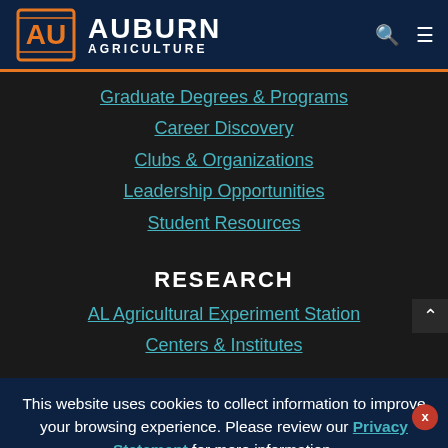[Figure (logo): Auburn Agriculture logo with stylized AU mark and text AUBURN AGRICULTURE]
Graduate Degrees & Programs
Career Discovery
Clubs & Organizations
Leadership Opportunities
Student Resources
RESEARCH
AL Agricultural Experiment Station
Centers & Institutes
This website uses cookies to collect information to improve your browsing experience. Please review our Privacy Statement for more information.